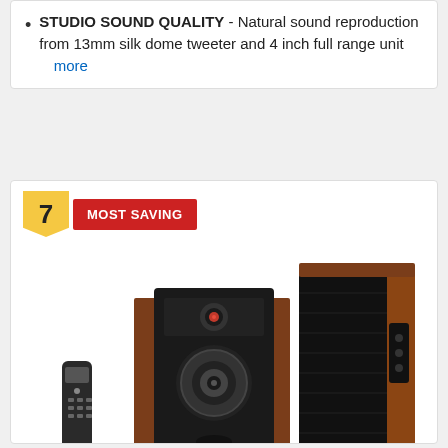STUDIO SOUND QUALITY - Natural sound reproduction from 13mm silk dome tweeter and 4 inch full range unit  more
7  MOST SAVING
[Figure (photo): Photo of a pair of bookshelf speakers (wood grain finish with black front) shown from an angle, with a small remote control to the left. The speakers appear to be studio monitor style with a tweeter on top and woofer below. Both speakers show the brand logo on the bottom.]